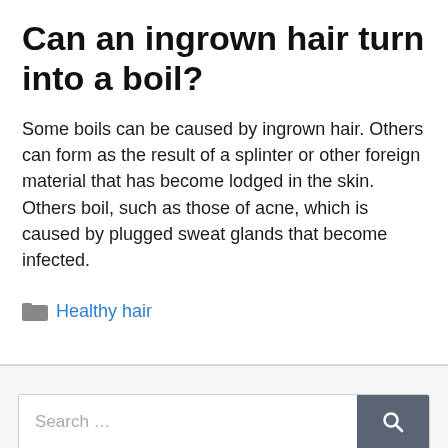Can an ingrown hair turn into a boil?
Some boils can be caused by ingrown hair. Others can form as the result of a splinter or other foreign material that has become lodged in the skin. Others boil, such as those of acne, which is caused by plugged sweat glands that become infected.
Healthy hair
Search …